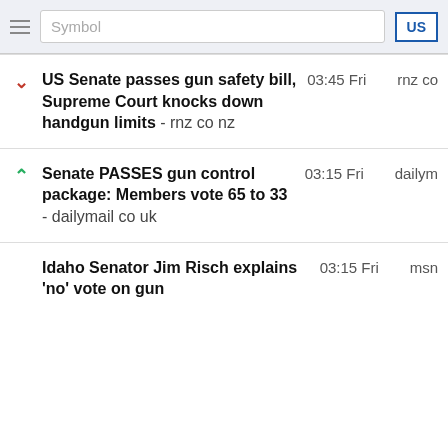Symbol  US
US Senate passes gun safety bill, Supreme Court knocks down handgun limits - rnz co nz  |  03:45 Fri  |  rnz co
Senate PASSES gun control package: Members vote 65 to 33 - dailymail co uk  |  03:15 Fri  |  dailym
Idaho Senator Jim Risch explains 'no' vote on gun legislation  |  03:15 Fri  |  msn